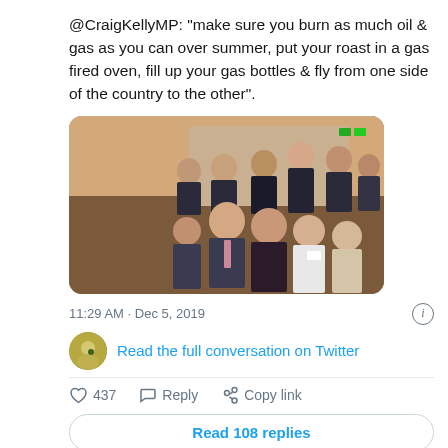@CraigKellyMP: “make sure you burn as much oil & gas as you can over summer, put your roast in a gas fired oven, fill up your gas bottles & fly from one side of the country to the other”.
[Figure (photo): Group photo of approximately 12 people in formal attire, standing and sitting together in what appears to be an indoor event space.]
11:29 AM · Dec 5, 2019
Read the full conversation on Twitter
437   Reply   Copy link
Read 108 replies